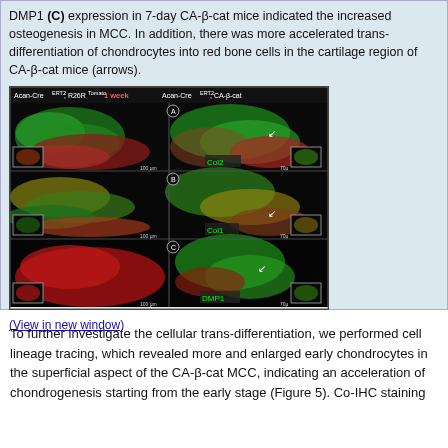DMP1 (C) expression in 7-day CA-β-cat mice indicated the increased osteogenesis in MCC. In addition, there was more accelerated trans-differentiation of chondrocytes into red bone cells in the cartilage region of CA-β-cat mice (arrows).
[Figure (photo): Fluorescence microscopy images showing three rows (A, B, C) of tissue sections labeled Col2, Col1, and DMP1 respectively. Left panel shows Acan-CreERT2; R26RTomato (1 week control), right panel shows Acan-CreERT2; CA-β-cat. Images show green and red fluorescence with inset boxes and white arrows indicating regions of interest.]
(View in new window)
To further investigate the cellular trans-differentiation, we performed cell lineage tracing, which revealed more and enlarged early chondrocytes in the superficial aspect of the CA-β-cat MCC, indicating an acceleration of chondrogenesis starting from the early stage (Figure 5). Co-IHC staining